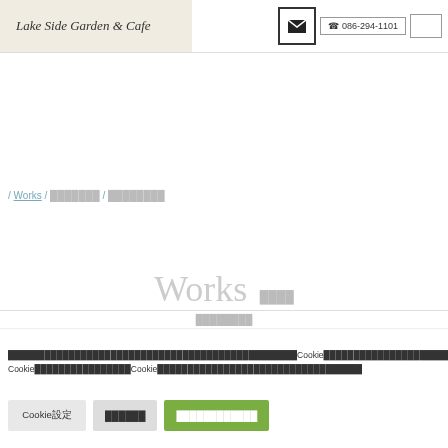Lake Side Garden & Cafe — header with logo, mail icon, phone 086-294-1101, search box
/ Works / ███████ / ████████
Works　████
████████
████████████████████████████████████████Cookie████████████████████████████████Cookie████████████████Cookie██████████████████████████████████
Cookie設定　　██████　　████████████